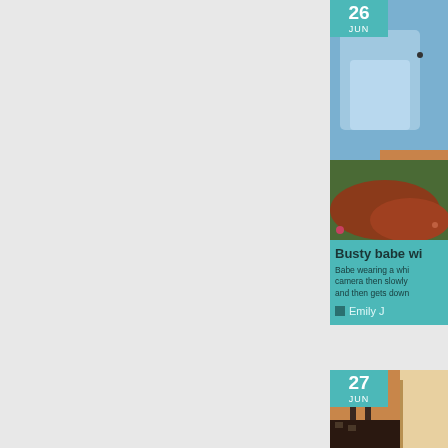[Figure (photo): Partial view of a web page showing two content cards on the right side. Card 1 shows a photo of a woman lying on grass wearing a white shirt, with a teal date badge showing '26 JUN'. Below the photo is a teal content area with the title 'Busty babe wi...' (truncated), description text 'Babe wearing a whi... camera then slowly... and then gets down...', and author 'Emily J'. Card 2 shows a photo of a woman in a swimsuit with a teal date badge showing '27 JUN'. The left portion of the page is a plain light gray background.]